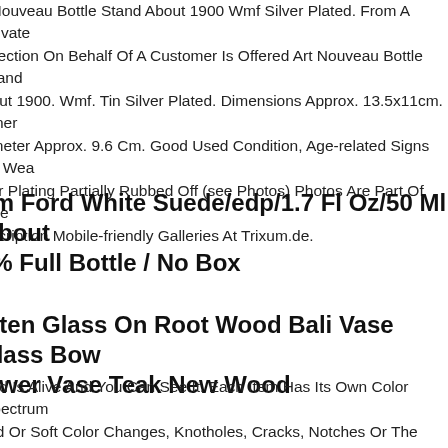t Nouveau Bottle Stand About 1900 Wmf Silver Plated. From A Private ollection On Behalf Of A Customer Is Offered Art Nouveau Bottle Stand bout 1900. Wmf. Tin Silver Plated. Dimensions Approx. 13.5x11cm. Inner ameter Approx. 9.6 Cm. Good Used Condition, Age-related Signs Of Wea ver Plating Partially Rubbed Off (see Photos) Photos Are Part Of The escription Mobile-friendly Galleries At Trixum.de.
om Ford White Suede/edp/1.7 Fl Oz/50 Ml /about 9% Full Bottle / No Box
olten Glass On Root Wood Bali Vase Glass Bow lower Vase Teak New Wood
ood Is Alive And You Can See It. Each Item Has Its Own Color Spectrum ard Or Soft Color Changes, Knotholes, Cracks, Notches Or The Like. hese Small Differences Make Each Item Unique And Create A Natural, riginal Atmosphere. Deviations From The Specified Dimensions Are ossible. These Deviations Do Not Constitute A Reason For Complaint. Th